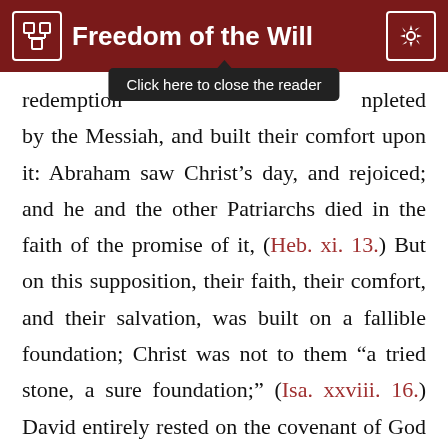Freedom of the Will
redemption [Click here to close the reader] npleted by the Messiah, and built their comfort upon it: Abraham saw Christ’s day, and rejoiced; and he and the other Patriarchs died in the faith of the promise of it, (Heb. xi. 13.) But on this supposition, their faith, their comfort, and their salvation, was built on a fallible foundation; Christ was not to them “a tried stone, a sure foundation;” (Isa. xxviii. 16.) David entirely rested on the covenant of God with him, concerning the future glorious dominion and salvation of the Messiah; and said it was all his salvation, and all his desire; and comforts himself